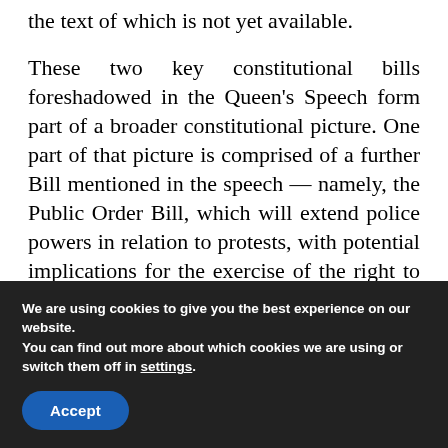the text of which is not yet available.
These two key constitutional bills foreshadowed in the Queen’s Speech form part of a broader constitutional picture. One part of that picture is comprised of a further Bill mentioned in the speech — namely, the Public Order Bill, which will extend police powers in relation to protests, with potential implications for the exercise of the right to protest.
We are using cookies to give you the best experience on our website.
You can find out more about which cookies we are using or switch them off in settings.
Accept